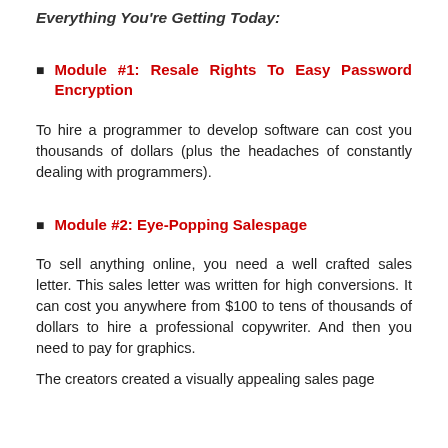Everything You're Getting Today:
Module #1: Resale Rights To Easy Password Encryption
To hire a programmer to develop software can cost you thousands of dollars (plus the headaches of constantly dealing with programmers).
Module #2: Eye-Popping Salespage
To sell anything online, you need a well crafted sales letter. This sales letter was written for high conversions. It can cost you anywhere from $100 to tens of thousands of dollars to hire a professional copywriter. And then you need to pay for graphics.
The creators created a visually appealing sales page...